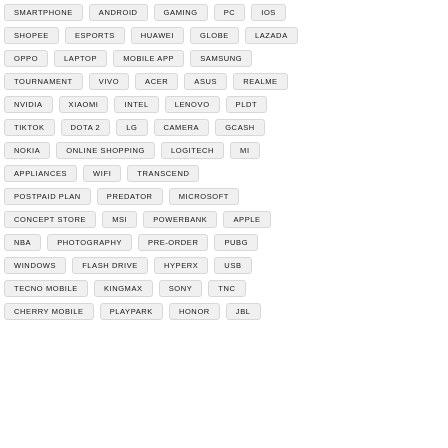SMARTPHONE
ANDROID
GAMING
PC
IOS
SHOPEE
ESPORTS
HUAWEI
GLOBE
LAZADA
OPPO
LAPTOP
MOBILE APP
SAMSUNG
TOURNAMENT
VIVO
ACER
ASUS
REALME
NVIDIA
XIAOMI
INTEL
LENOVO
PLDT
TIKTOK
DOTA 2
LG
CAMERA
GCASH
NOKIA
ONLINE SHOPPING
LOGITECH
MI
APPLIANCES
WIFI
TRANSCEND
POSTPAID PLAN
PREDATOR
MICROSOFT
CONCEPT STORE
MSI
POWERBANK
APPLE
NBA
PHOTOGRAPHY
PRE-ORDER
PUBG
WINDOWS
FLASH DRIVE
HYPERX
USB
TECNO MOBILE
KINGMAX
SONY
TNC
CHERRY MOBILE
PLAYPARK
HONOR
JBL